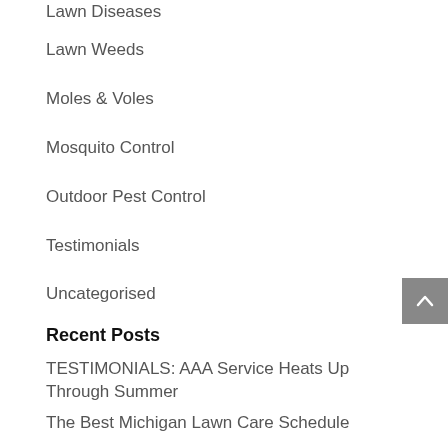Lawn Diseases
Lawn Weeds
Moles & Voles
Mosquito Control
Outdoor Pest Control
Testimonials
Uncategorised
Recent Posts
TESTIMONIALS: AAA Service Heats Up Through Summer
The Best Michigan Lawn Care Schedule
TESTIMONIALS: AAA Starts Off Spring On a Positive Note
Early Spring Lawn Care Tricks You Need to Know
TESTIMONIALS: AAA Ending The Year With Excellent